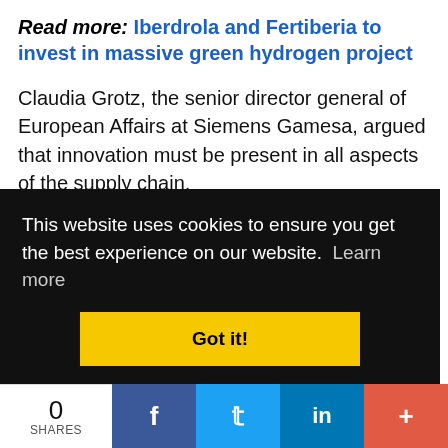Read more: Iberdrola and Fertiberia to invest in massive green hydrogen project
Claudia Grotz, the senior director general of European Affairs at Siemens Gamesa, argued that innovation must be present in all aspects of the supply chain.
She said that there must be assurances as manufacturers and suppliers across supply chains scale up production to be ready to meet climate goals.
"It will require investments," she said. "We look [partially obscured text continues]
This website uses cookies to ensure you get the best experience on our website. Learn more
0 SHARES | Facebook | Twitter | LinkedIn | +